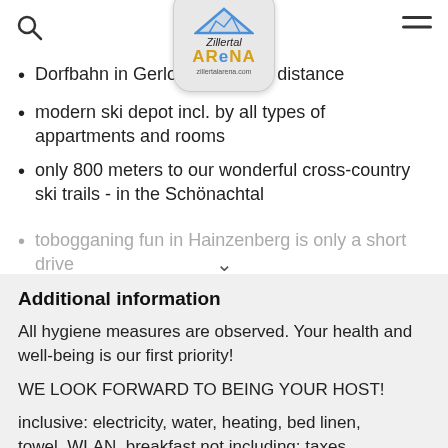Zillertal Arena - zillertalarena.com
Dorfbahn in Gerlo... m walking distance
modern ski depot incl. by all types of appartments and rooms
only 800 meters to our wonderful cross-country ski trails - in the Schönachtal
tobogganing fun in Hainzenberg is only a short drive
Additional information
All hygiene measures are observed. Your health and well-being is our first priority!
WE LOOK FORWARD TO BEING YOUR HOST!
inclusive: electricity, water, heating, bed linen, towel, WLAN, breakfast not including; taxes...